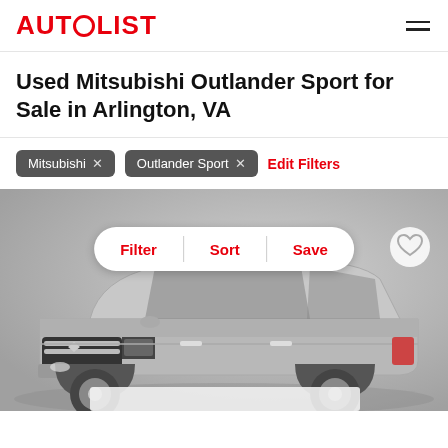AUTOLIST
Used Mitsubishi Outlander Sport for Sale in Arlington, VA
Mitsubishi × Outlander Sport × Edit Filters
[Figure (photo): Mitsubishi Outlander Sport SUV in silver/grey color, shown in a studio-style grey gradient background. Overlaid with a Filter | Sort | Save pill button and a heart/save icon in the top right corner. Bottom of image shows a white card preview.]